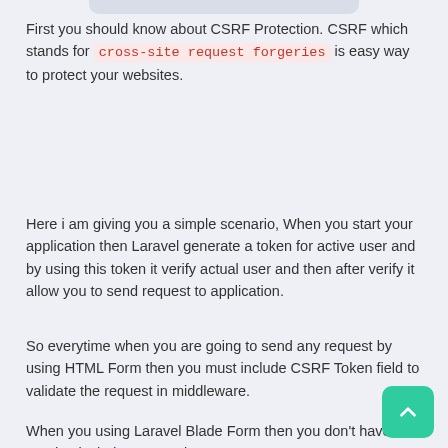First you should know about CSRF Protection. CSRF which stands for cross-site request forgeries is easy way to protect your websites.
Here i am giving you a simple scenario, When you start your application then Laravel generate a token for active user and by using this token it verify actual user and then after verify it allow you to send request to application.
So everytime when you are going to send any request by using HTML Form then you must include CSRF Token field to validate the request in middleware.
When you using Laravel Blade Form then you don't have need to include CSRF token.